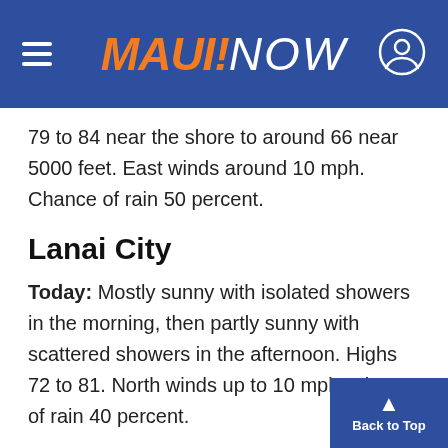MAUI NOW
79 to 84 near the shore to around 66 near 5000 feet. East winds around 10 mph. Chance of rain 50 percent.
Lanai City
Today: Mostly sunny with isolated showers in the morning, then partly sunny with scattered showers in the afternoon. Highs 72 to 81. North winds up to 10 mph. Chance of rain 40 percent.
Tonight: Partly cloudy. Scattered showers in the evening, then isolated showers after midnight. around 64. Light winds. Chance of rain 30 perc